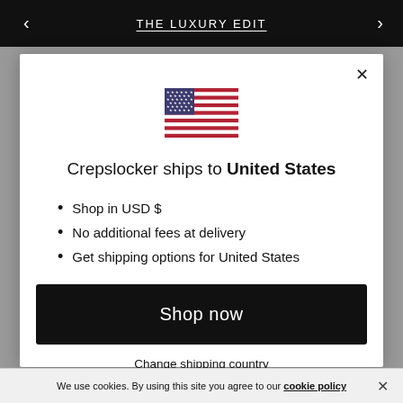THE LUXURY EDIT
[Figure (illustration): US flag icon centered in modal]
Crepslocker ships to United States
Shop in USD $
No additional fees at delivery
Get shipping options for United States
Shop now
Change shipping country
We use cookies. By using this site you agree to our cookie policy